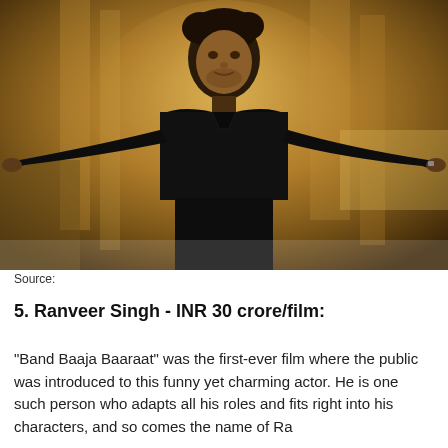[Figure (photo): A man in a black shirt with arms outstretched, posed against a warm golden/amber background. The figure is centered in the image.]
Source:
5. Ranveer Singh - INR 30 crore/film:
"Band Baaja Baaraat" was the first-ever film where the public was introduced to this funny yet charming actor. He is one such person who adapts all his roles and fits right into his characters, and so comes the name of Ra...